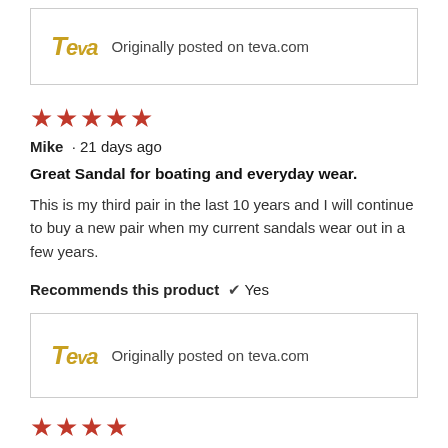[Figure (logo): Teva logo with text 'Originally posted on teva.com' in a bordered box at the top]
★★★★★
Mike · 21 days ago
Great Sandal for boating and everyday wear.
This is my third pair in the last 10 years and I will continue to buy a new pair when my current sandals wear out in a few years.
Recommends this product ✔ Yes
[Figure (logo): Teva logo with text 'Originally posted on teva.com' in a bordered box]
★★★★